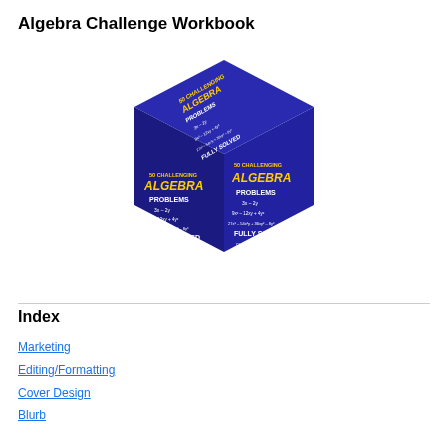Algebra Challenge Workbook
[Figure (illustration): 3D isometric cube book cover showing '50 Challenging Algebra Problems Fully Solved' on multiple faces, dark navy blue with yellow and white text, mathematical formulas visible]
Index
Marketing
Editing/Formatting
Cover Design
Blurb